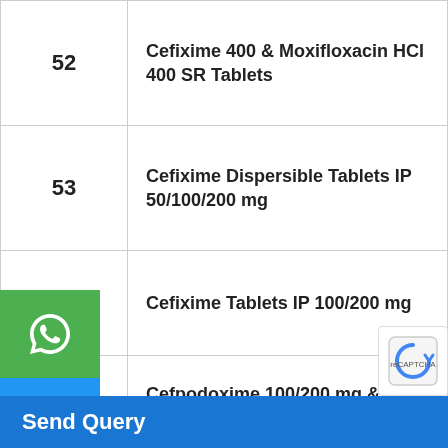| No. | Product Name |
| --- | --- |
| 52 | Cefixime 400 & Moxifloxacin HCl 400 SR Tablets |
| 53 | Cefixime Dispersible Tablets IP 50/100/200 mg |
| 54 | Cefixime Tablets IP 100/200 mg |
| 55 | Cefpodoxime 100/200 mg & Dicloxacillin (ER) 500/500 mg Tablets |
| 56 | Cefpodoxime 200 mg & Ofloxacin 200 mg Tablets |
| 57 | Cefpodoxime Proxetil Dispersible Tablets 50/100/200 mg |
| 58 | Cefpodoxime Proxetil Tablets IP |